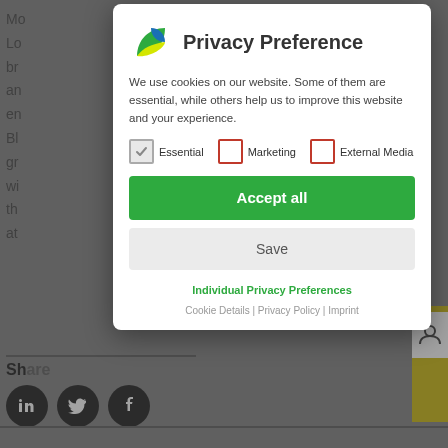[Figure (screenshot): Background webpage content with partial text visible on left side and social share icons at bottom]
[Figure (other): Privacy Preference modal dialog with logo, cookie consent text, Essential/Marketing/External Media checkboxes, Accept all button, Save button, Individual Privacy Preferences link, and Cookie Details / Privacy Policy / Imprint links]